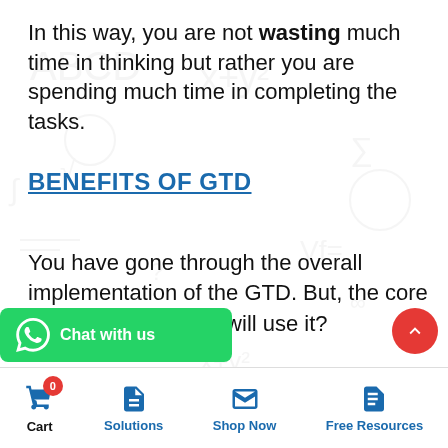In this way, you are not wasting much time in thinking but rather you are spending much time in completing the tasks.
BENEFITS OF GTD
You have gone through the overall implementation of the GTD. But, the core question is why you will use it?
benefits if you use this method?
Cart  Solutions  Shop Now  Free Resources